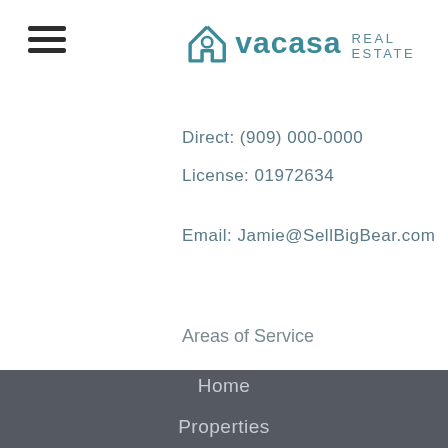vacasa REAL ESTATE
Direct: (909) 000-0000
License: 01972634
Email: Jamie@SellBigBear.com
Areas of Service
92315, 92314, 92333, 92386
Home
Properties